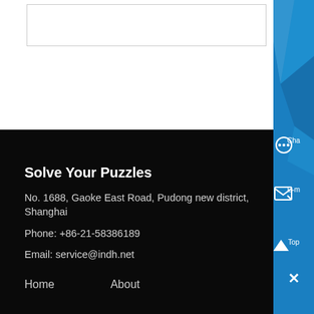[Figure (screenshot): White area with a search/input box at top, part of a website interface]
[Figure (screenshot): Blue sidebar with geometric polygon shapes and UI controls: Chat, E-mail, Top, and close (X) buttons]
Solve Your Puzzles
No. 1688, Gaoke East Road, Pudong new district, Shanghai
Phone: +86-21-58386189
Email: service@indh.net
Home    About